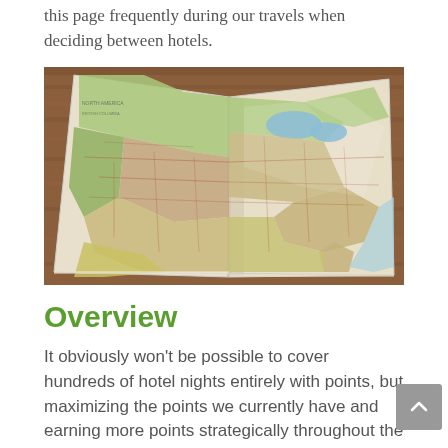this page frequently during our travels when deciding between hotels.
[Figure (photo): An open road atlas/map book showing a detailed map of the United States, lying on a wooden surface. The map shows road networks, state borders, and topographic coloring.]
Overview
It obviously won't be possible to cover hundreds of hotel nights entirely with points, but maximizing the points we currently have and earning more points strategically throughout the year has the potential to